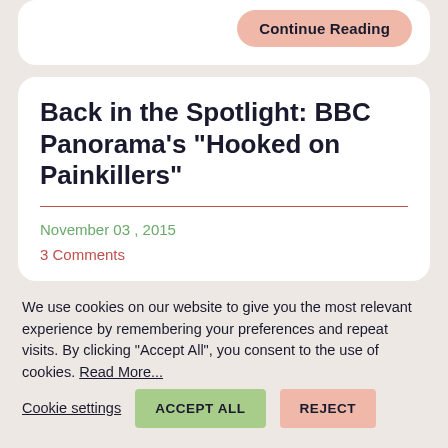Continue Reading
Back in the Spotlight: BBC Panorama’s “Hooked on Painkillers”
November 03 , 2015
3 Comments
We use cookies on our website to give you the most relevant experience by remembering your preferences and repeat visits. By clicking “Accept All”, you consent to the use of cookies. Read More...
Cookie settings
ACCEPT ALL
REJECT